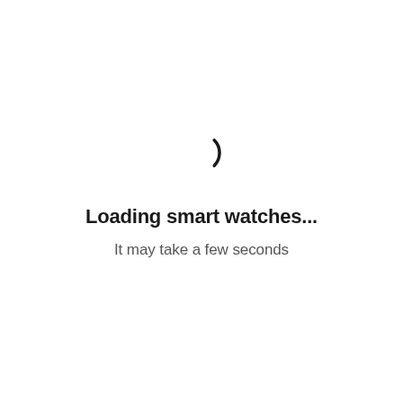[Figure (illustration): A loading spinner icon showing a partial circle arc (bottom-left portion), resembling a spinning indicator in dark/black color.]
Loading smart watches...
It may take a few seconds